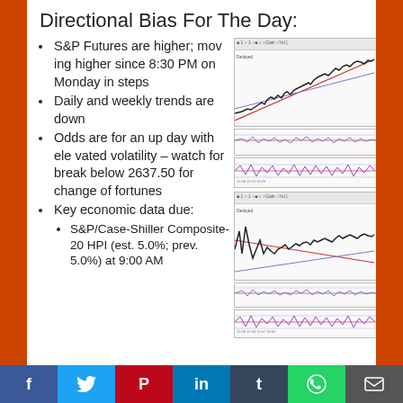Directional Bias For The Day:
S&P Futures are higher; moving higher since 8:30 PM on Monday in steps
Daily and weekly trends are down
Odds are for an up day with elevated volatility – watch for break below 2637.50 for change of fortunes
[Figure (continuous-plot): S&P Futures intraday chart showing upward trend with candlesticks and trendlines, plus two oscillator panels below]
[Figure (continuous-plot): Second S&P Futures chart showing price action with trendlines and two oscillator panels below]
Key economic data due:
S&P/Case-Shiller Composite-20 HPI (est. 5.0%; prev. 5.0%) at 9:00 AM
f  t  P  in  t  WhatsApp  Email